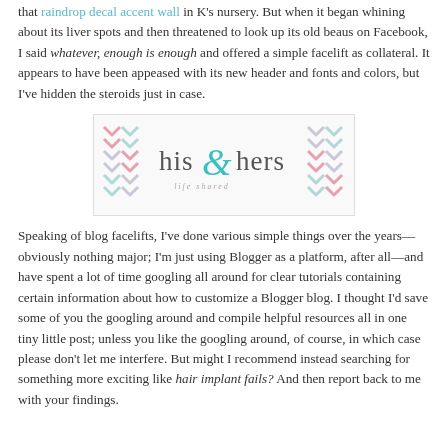that raindrop decal accent wall in K's nursery. But when it began whining about its liver spots and then threatened to look up its old beaus on Facebook, I said whatever, enough is enough and offered a simple facelift as collateral. It appears to have been appeased with its new header and fonts and colors, but I've hidden the steroids just in case.
[Figure (logo): Blog logo for 'his & hers life shared' with chevron pattern background in pink, mint, and grey colors]
Speaking of blog facelifts, I've done various simple things over the years—obviously nothing major; I'm just using Blogger as a platform, after all—and have spent a lot of time googling all around for clear tutorials containing certain information about how to customize a Blogger blog. I thought I'd save some of you the googling around and compile helpful resources all in one tiny little post; unless you like the googling around, of course, in which case please don't let me interfere. But might I recommend instead searching for something more exciting like hair implant fails? And then report back to me with your findings.